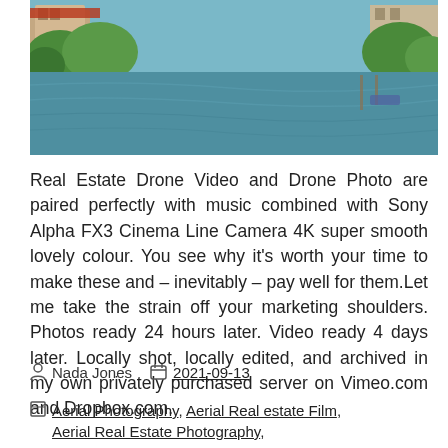[Figure (photo): Aerial drone photo of a waterway/canal with green trees and vegetation on both sides, blue water in the center, and residential buildings/docks visible in the background]
Real Estate Drone Video and Drone Photo are paired perfectly with music combined with Sony Alpha FX3 Cinema Line Camera 4K super smooth lovely colour. You see why it's worth your time to make these and – inevitably – pay well for them.Let me take the strain off your marketing shoulders. Photos ready 24 hours later. Video ready 4 days later. Locally shot, locally edited, and archived in my own privately purchased server on Vimeo.com and Dropbox.com.
Nada Jones   2021-09-13
Aerial Photography, Aerial Real estate Film, Aerial Real Estate Photography,